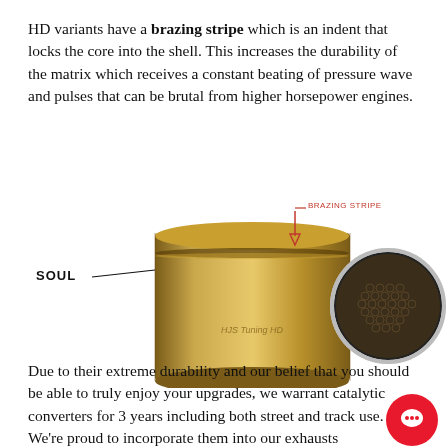HD variants have a brazing stripe which is an indent that locks the core into the shell. This increases the durability of the matrix which receives a constant beating of pressure wave and pulses that can be brutal from higher horsepower engines.
[Figure (photo): Two catalytic converter components side by side: left shows a cylindrical metallic shell (brass/gold colored) labeled 'SOUL' with a red arrow pointing to the 'BRAZING STRIPE' indent at the top, and text 'HJS Tuning HD' inscribed on it; right shows the circular honeycomb matrix face-on view inside a white housing.]
Due to their extreme durability and our belief that you should be able to truly enjoy your upgrades, we warrant catalytic converters for 3 years including both street and track use. We're proud to incorporate them into our exhausts